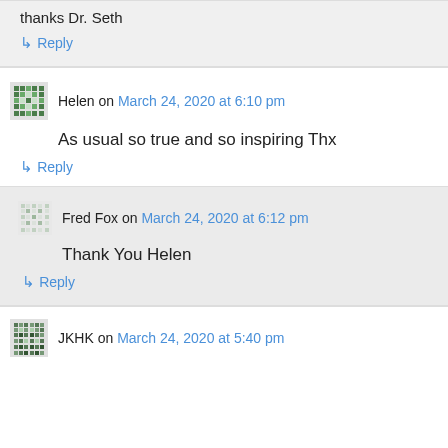thanks Dr. Seth
↳ Reply
Helen on March 24, 2020 at 6:10 pm
As usual so true and so inspiring Thx
↳ Reply
Fred Fox on March 24, 2020 at 6:12 pm
Thank You Helen
↳ Reply
JKHK on March 24, 2020 at 5:40 pm